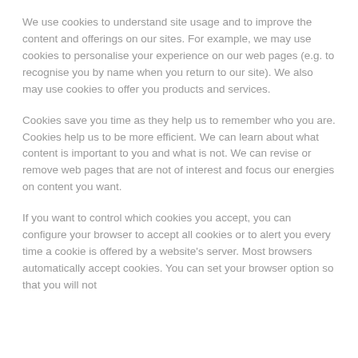We use cookies to understand site usage and to improve the content and offerings on our sites. For example, we may use cookies to personalise your experience on our web pages (e.g. to recognise you by name when you return to our site). We also may use cookies to offer you products and services.
Cookies save you time as they help us to remember who you are. Cookies help us to be more efficient. We can learn about what content is important to you and what is not. We can revise or remove web pages that are not of interest and focus our energies on content you want.
If you want to control which cookies you accept, you can configure your browser to accept all cookies or to alert you every time a cookie is offered by a website's server. Most browsers automatically accept cookies. You can set your browser option so that you will not